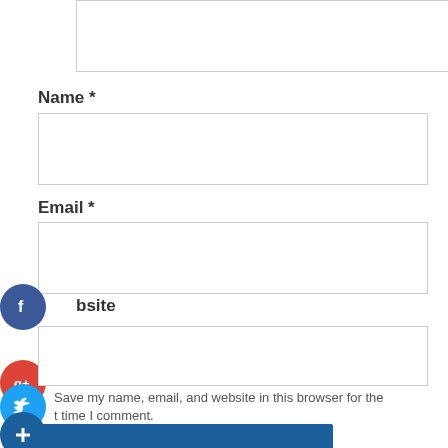(textarea box - top)
Name *
(name input field)
Email *
(email input field)
Website
(website input field)
Save my name, email, and website in this browser for the next time I comment.
Post Comment